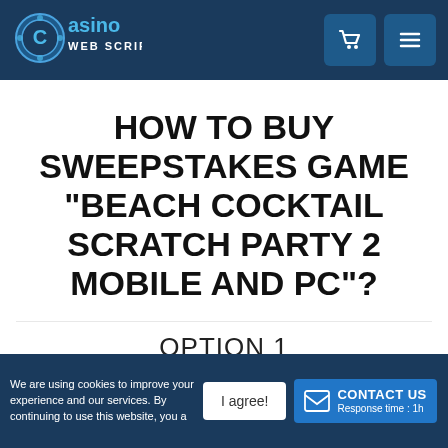[Figure (logo): Casino Web Scripts logo on dark navy header bar with shopping cart icon and hamburger menu icon]
HOW TO BUY SWEEPSTAKES GAME "BEACH COCKTAIL SCRATCH PARTY 2 MOBILE AND PC"?
OPTION 1
You can add this game to cart and create your own custom
We are using cookies to improve your experience and our services. By continuing to use this website, you a
I agree!
CONTACT US Response time : 1h